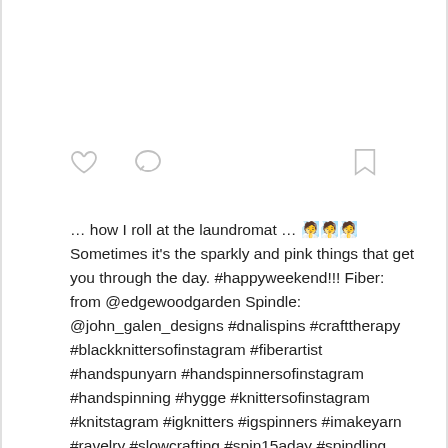[Figure (other): Social media interaction icons: heart (like), speech bubble (comment), and bookmark icons]
… how I roll at the laundromat … 🧖🧖🧖 Sometimes it's the sparkly and pink things that get you through the day. #happyweekend!!! Fiber: from @edgewoodgarden Spindle: @john_galen_designs #dnalispins #crafttherapy #blackknittersofinstagram #fiberartist #handspunyarn #handspinnersofinstagram #handspinning #hygge #knittersofinstagram #knitstagram #igknitters #igspinners #imakeyarn #ravelry #slowcrafting #spin15aday #spindling #dropspindle #yarnspinning #yarnspinnersofinstagram #woolstories #vincyknitter #woolyweekend #yarnlove